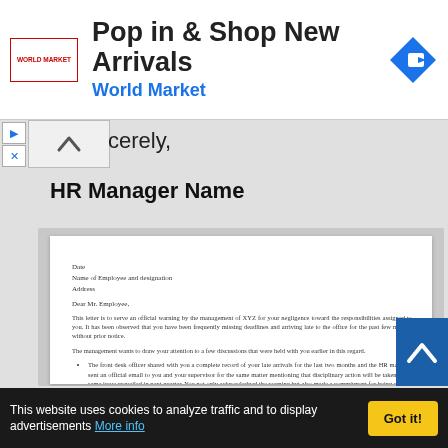[Figure (screenshot): Advertisement banner for World Market: 'Pop in & Shop New Arrivals' with World Market logo and navigation icon]
cerely,
HR Manager Name
[Figure (screenshot): Preview of a formal HR warning letter document with fields for Date, Name of Employee and designation, Address, salutation 'Dear Mr. Employee,' and body text about official warning for negligence, missing deadlines, and late arrivals, with bullet points.]
This website uses cookies to analyze traffic and to display advertisements More info